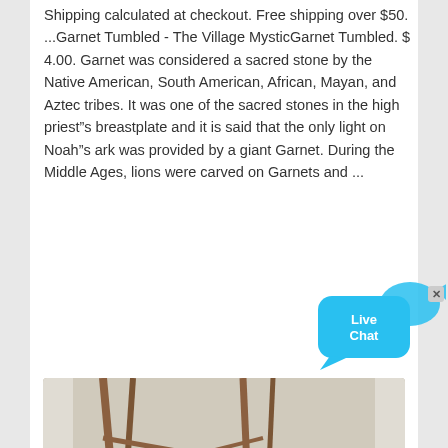Shipping calculated at checkout. Free shipping over $50. ...Garnet Tumbled - The Village MysticGarnet Tumbled. $ 4.00. Garnet was considered a sacred stone by the Native American, South American, African, Mayan, and Aztec tribes. It was one of the sacred stones in the high priest"s breastplate and it is said that the only light on Noah"s ark was provided by a giant Garnet. During the Middle Ages, lions were carved on Garnets and ...
[Figure (screenshot): Live Chat bubble widget with blue speech bubble and fish shape icon, with an X close button]
[Figure (photo): Industrial mining or processing equipment with metal framework, conveyor belts, and machinery in an outdoor setting]
Garnet Tumbled Stones